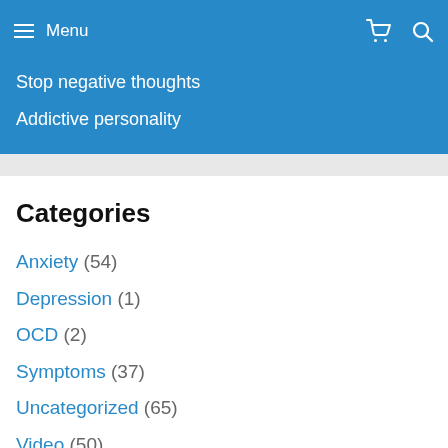Menu
Stop negative thoughts
Addictive personality
Categories
Anxiety (54)
Depression (1)
OCD (2)
Symptoms (37)
Uncategorized (65)
Video (50)